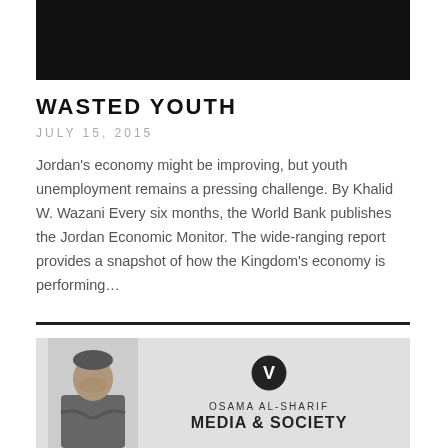[Figure (photo): Black banner image at the top of the page]
WASTED YOUTH
JULY 15, 2015
Jordan's economy might be improving, but youth unemployment remains a pressing challenge. By Khalid W. Wazani Every six months, the World Bank publishes the Jordan Economic Monitor. The wide-ranging report provides a snapshot of how the Kingdom's economy is performing…
[Figure (photo): Bottom card with a grayscale photo of a man with crossed arms on the left, and on the right a circular logo with a V, the name OSAMA AL-SHARIF, and the text MEDIA & SOCIETY]